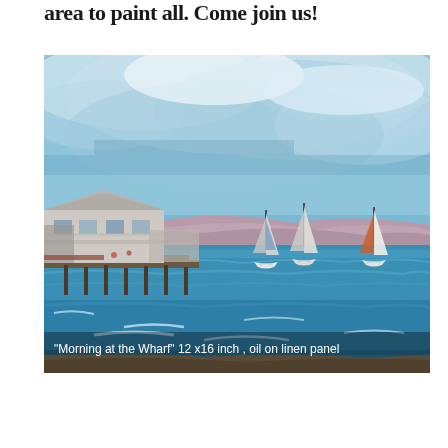area to paint all. Come join us!
[Figure (illustration): Oil painting titled 'Morning at the Wharf' — a harbor scene with blue water, sailboats, a wooden pier with buildings on the left, purple hills in the background, and a dramatic blue cloudy sky. Caption reads: "Morning at the Wharf" 12 x16 inch , oil on linen panel]
"Morning at the Wharf" 12 x16 inch , oil on linen panel